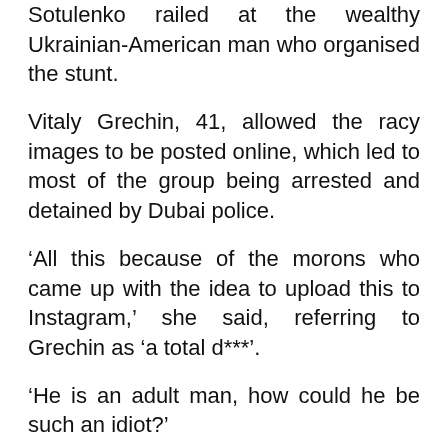Sotulenko railed at the wealthy Ukrainian-American man who organised the stunt.
Vitaly Grechin, 41, allowed the racy images to be posted online, which led to most of the group being arrested and detained by Dubai police.
‘All this because of the morons who came up with the idea to upload this to Instagram,’ she said, referring to Grechin as ‘a total d***’.
‘He is an adult man, how could he be such an idiot?’
She claimed that she had been forced to go